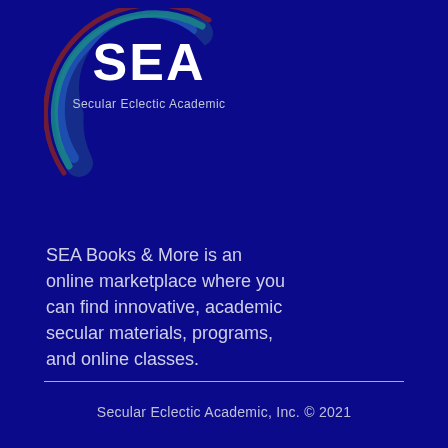[Figure (logo): SEA Secular Eclectic Academic circular logo with concentric arc lines in blue, teal, and red/orange on dark blue background]
SEA Books & More is an online marketplace where you can find innovative, academic secular materials, programs, and online classes.
Secular Eclectic Academic, Inc. © 2021